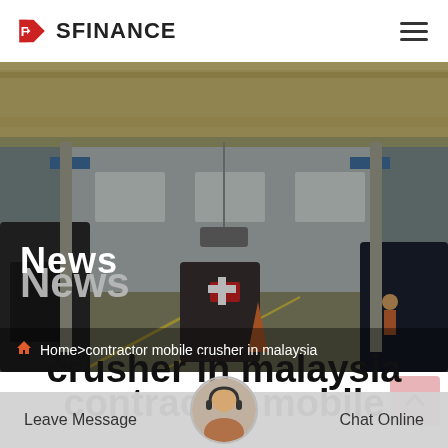SFINANCE
[Figure (photo): Industrial factory interior showing machinery, cranes, and workers on a factory floor with large yellow overhead cranes. Overlaid with a dark transparent layer and text 'News' and breadcrumb navigation.]
News
Home>contractor mobile crusher in malaysia
contractor mobile crusher in malaysia
Leave Message
Chat Online